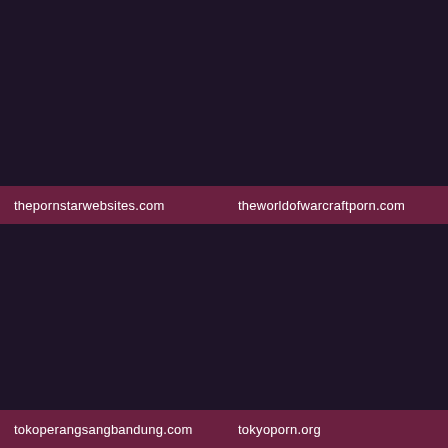thepornstarwebsites.com
theworldofwarcraftporn.com
tokoperangsangbandung.com
tokyoporn.org